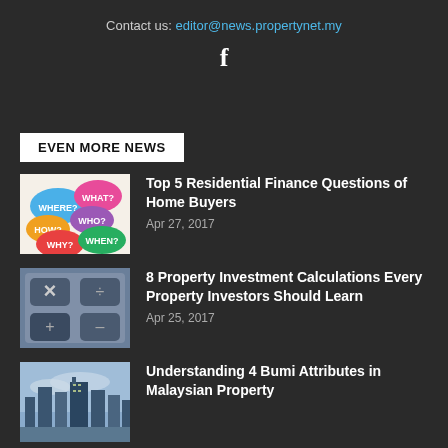Contact us: editor@news.propertynet.my
[Figure (logo): Facebook icon letter f]
EVEN MORE NEWS
[Figure (illustration): Colorful speech bubbles with WHERE?, WHAT?, HOW?, WHO?, WHY?, WHEN? text]
Top 5 Residential Finance Questions of Home Buyers
Apr 27, 2017
[Figure (photo): Calculator keys close-up, blue tones showing X and other keys]
8 Property Investment Calculations Every Property Investors Should Learn
Apr 25, 2017
[Figure (photo): City skyline with tall buildings and cloudy sky]
Understanding 4 Bumi Attributes in Malaysian Property